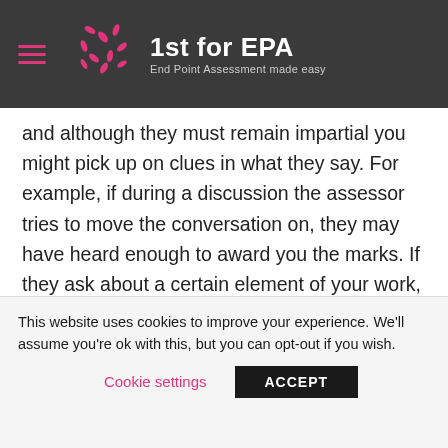1st for EPA — End Point Assessment made easy
and although they must remain impartial you might pick up on clues in what they say. For example, if during a discussion the assessor tries to move the conversation on, they may have heard enough to award you the marks. If they ask about a certain element of your work, answer on that element – the assessor knows where marks are available and is giving you the opportunity to achieve them. This is
This website uses cookies to improve your experience. We'll assume you're ok with this, but you can opt-out if you wish.